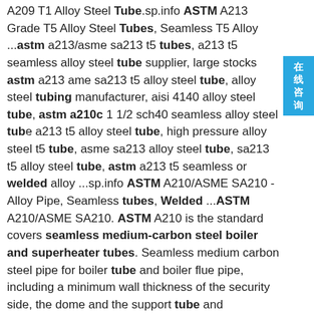A209 T1 Alloy Steel Tube.sp.info ASTM A213 Grade T5 Alloy Steel Tubes, Seamless T5 Alloy ...astm a213/asme sa213 t5 tubes, a213 t5 seamless alloy steel tube supplier, large stocks astm a213 ame sa213 t5 alloy steel tube, alloy steel tubing manufacturer, aisi 4140 alloy steel tube, astm a210c 1 1/2 sch40 seamless alloy steel tube a213 t5 alloy steel tube, high pressure alloy steel t5 tube, asme sa213 alloy steel tube, sa213 t5 alloy steel tube, astm a213 t5 seamless or welded alloy ...sp.info ASTM A210/ASME SA210 - Alloy Pipe, Seamless tubes, Welded ...ASTM A210/ASME SA210. ASTM A210 is the standard covers seamless medium-carbon steel boiler and superheater tubes. Seamless medium carbon steel pipe for boiler tube and boiler flue pipe, including a minimum wall thickness of the security side, the dome and the support tube and superheater tubes.sp.info ASTM A209/ ASME SA209 T1 Alloy Steel Tube, ASTM A209 ...ASTM A209/ ASME SA209 T1 Alloy Steel Tube Manufacturer Supplier and Distributor of ASTM A209/ ASME SA209 T1
[Figure (other): Blue sidebar button with Chinese characters meaning 'Online Consultation' (在线咨询)]